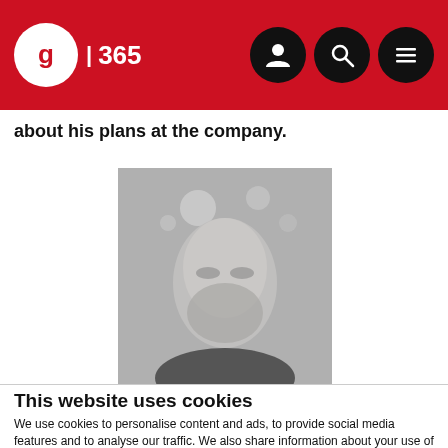IBC 365 — website navigation header with logo, user icon, search icon, menu icon
about his plans at the company.
[Figure (photo): Grayscale/desaturated photo of a man's face with blurred background bokeh lights]
This website uses cookies
We use cookies to personalise content and ads, to provide social media features and to analyse our traffic. We also share information about your use of our site with our social media, advertising and analytics partners who may combine it with other information that you've provided to them or that they've collected from your use of their services. You can opt out of certain types of cookies below before proceeding to the website.
Use necessary cookies only | Allow all cookies
Show details